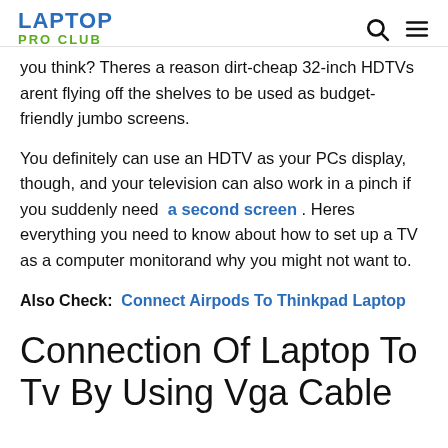LAPTOP PRO CLUB
you think? Theres a reason dirt-cheap 32-inch HDTVs arent flying off the shelves to be used as budget-friendly jumbo screens.
You definitely can use an HDTV as your PCs display, though, and your television can also work in a pinch if you suddenly need a second screen . Heres everything you need to know about how to set up a TV as a computer monitorand why you might not want to.
Also Check:  Connect Airpods To Thinkpad Laptop
Connection Of Laptop To Tv By Using Vga Cable